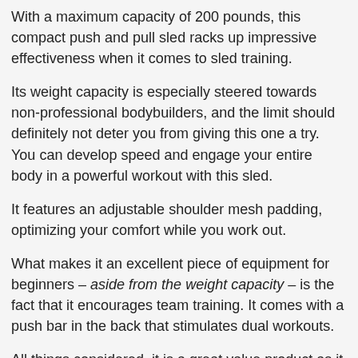With a maximum capacity of 200 pounds, this compact push and pull sled racks up impressive effectiveness when it comes to sled training.
Its weight capacity is especially steered towards non-professional bodybuilders, and the limit should definitely not deter you from giving this one a try. You can develop speed and engage your entire body in a powerful workout with this sled.
It features an adjustable shoulder mesh padding, optimizing your comfort while you work out.
What makes it an excellent piece of equipment for beginners – aside from the weight capacity – is the fact that it encourages team training. It comes with a push bar in the back that stimulates dual workouts.
All things considered, it is a great value product as it comes with both waist belts and leads that ensure the sled is